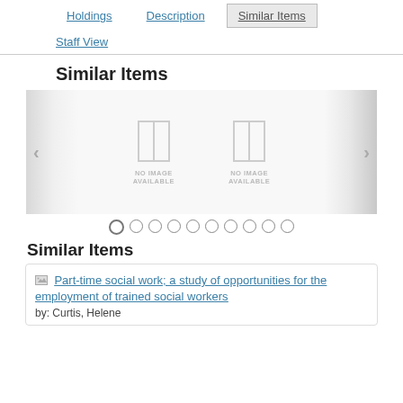Holdings | Description | Similar Items | Staff View
Similar Items
[Figure (other): Carousel of similar items with two 'No Image Available' book cover placeholders, left/right navigation arrows, and 10 pagination dots.]
Similar Items
Part-time social work; a study of opportunities for the employment of trained social workers by: Curtis, Helene